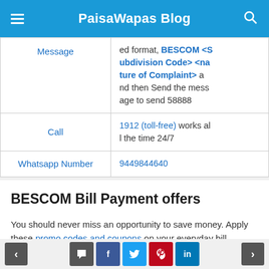PaisaWapas Blog
|  |  |
| --- | --- |
| Message | ed format, BESCOM <Subdivision Code> <nature of Complaint> and then Send the message to send 58888 |
| Call | 1912 (toll-free) works all the time 24/7 |
| Whatsapp Number | 9449844640 |
BESCOM Bill Payment offers
You should never miss an opportunity to save money. Apply these promo codes and coupons on your everyday bill. Adding on to that, you can also
< > comment facebook twitter pinterest linkedin